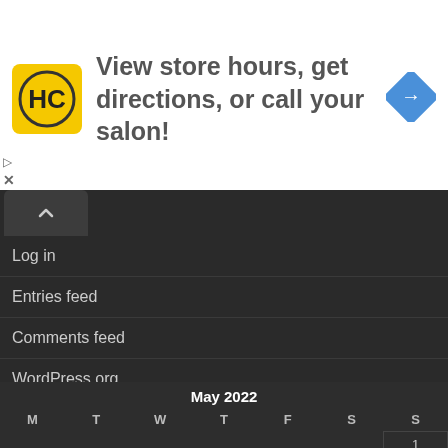[Figure (infographic): Advertisement banner: HC logo (yellow circle with HC letters), text 'View store hours, get directions, or call your salon!', blue diamond navigation arrow icon]
Log in
Entries feed
Comments feed
WordPress.org
| M | T | W | T | F | S | S |
| --- | --- | --- | --- | --- | --- | --- |
|  |  |  |  |  |  | 1 |
| 2 | 3 | 4 | 5 | 6 | 7 | 8 |
| 9 | 10 | 11 | 12 | 13 | 14 | 15 |
| 16 | 17 | 18 | 19 | 20 | 21 | 22 |
| 23 | 24 | 25 | 26 | 27 | 28 | 29 |